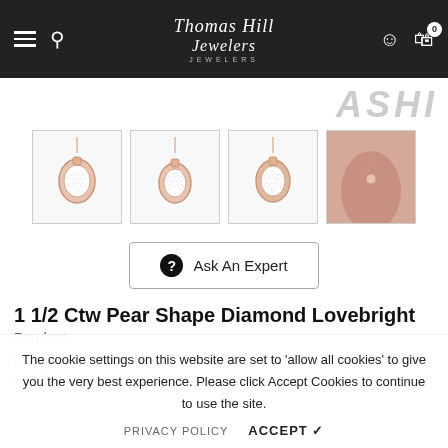Thomas Hill Jewelers
[Figure (photo): Four thumbnail product images of a rose gold pear-shape diamond pendant necklace from ASHI, plus a lifestyle photo of the pendant on a person's neck]
Ask An Expert
1 1/2 Ctw Pear Shape Diamond Lovebright Pendant
Designer: ASHI
SKU: R6090TDADFVFDFV-1.50
The cookie settings on this website are set to 'allow all cookies' to give you the very best experience. Please click Accept Cookies to continue to use the site.